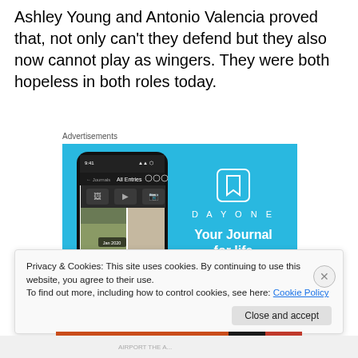Ashley Young and Antonio Valencia proved that, not only can't they defend but they also now cannot play as wingers. They were both hopeless in both roles today.
Advertisements
[Figure (screenshot): DayOne app advertisement on blue background showing a phone with journal app and tagline 'Your Journal for life']
Privacy & Cookies: This site uses cookies. By continuing to use this website, you agree to their use.
To find out more, including how to control cookies, see here: Cookie Policy